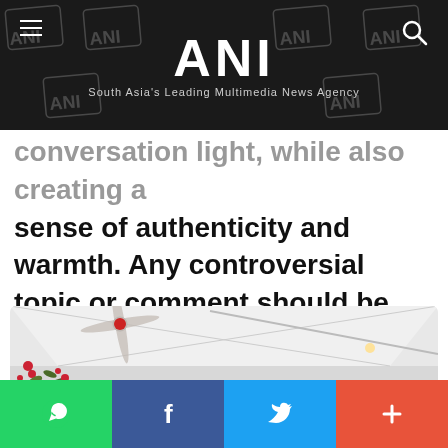ANI — South Asia's Leading Multimedia News Agency
conversation light, while also creating a sense of authenticity and warmth. Any controversial topic or comment should be avoided.
[Figure (photo): Interior room photo showing white ceiling with ceiling fan and a red accent piece, white walls with vents, and some red berry branches on the left side. Person partially visible on right edge.]
WhatsApp | Facebook | Twitter | More social sharing buttons